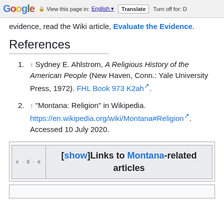Google | View this page in: English | Translate | Turn off for: D
evidence, read the Wiki article, Evaluate the Evidence.
References
1. ↑ Sydney E. Ahlstrom, A Religious History of the American People (New Haven, Conn.: Yale University Press, 1972). FHL Book 973 K2ah.
2. ↑ "Montana: Religion" in Wikipedia. https://en.wikipedia.org/wiki/Montana#Religion. Accessed 10 July 2020.
| v·d·e | [show]Links to Montana-related articles |
| --- | --- |